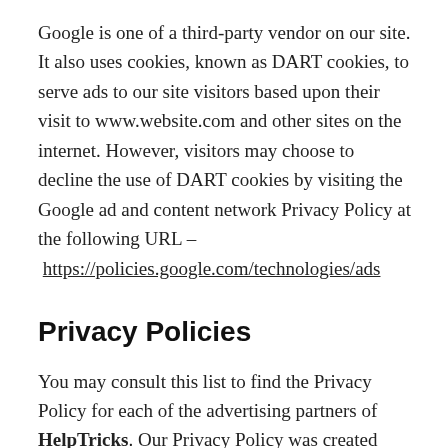Google is one of a third-party vendor on our site. It also uses cookies, known as DART cookies, to serve ads to our site visitors based upon their visit to www.website.com and other sites on the internet. However, visitors may choose to decline the use of DART cookies by visiting the Google ad and content network Privacy Policy at the following URL – https://policies.google.com/technologies/ads
Privacy Policies
You may consult this list to find the Privacy Policy for each of the advertising partners of HelpTricks. Our Privacy Policy was created with the help of